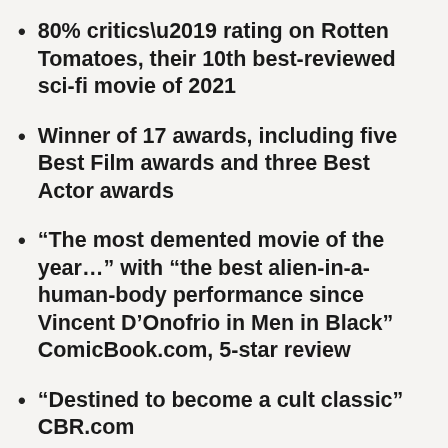80% critics’ rating on Rotten Tomatoes, their 10th best-reviewed sci-fi movie of 2021
Winner of 17 awards, including five Best Film awards and three Best Actor awards
“The most demented movie of the year…” with “the best alien-in-a-human-body performance since Vincent D’Onofrio in Men in Black” ComicBook.com, 5-star review
“Destined to become a cult classic” CBR.com
“Brilliance, imagination and a real